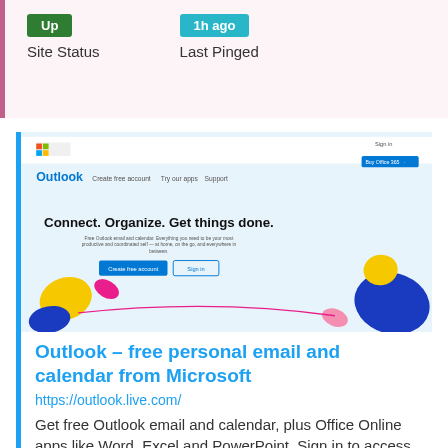Up — Site Status
1h ago — Last Pinged
[Figure (screenshot): Screenshot of outlook.live.com homepage showing 'Connect. Organize. Get things done.' headline with colorful decorative shapes, a navigation bar with Microsoft logo, Outlook branding, and buttons for 'Create free account' and 'Sign in'.]
Outlook – free personal email and calendar from Microsoft
https://outlook.live.com/
Get free Outlook email and calendar, plus Office Online apps like Word, Excel and PowerPoint. Sign in to access your Outlook